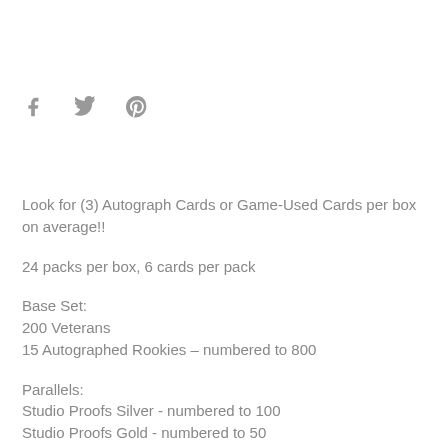[Figure (other): Social media share icons: Facebook (f), Twitter (bird), Pinterest (p)]
Look for (3) Autograph Cards or Game-Used Cards per box on average!!
24 packs per box, 6 cards per pack
Base Set:
200 Veterans
15 Autographed Rookies – numbered to 800
Parallels:
Studio Proofs Silver - numbered to 100
Studio Proofs Gold - numbered to 50